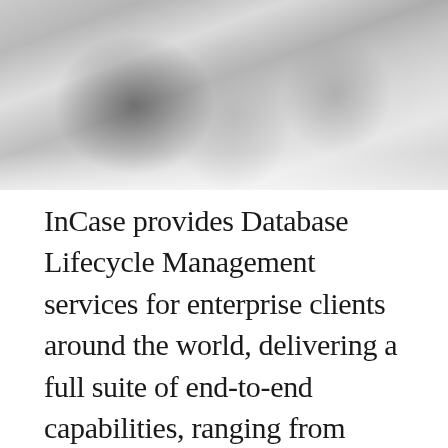[Figure (photo): Blurred background photo showing indistinct objects on a light surface, likely office or tech equipment, with shallow depth of field creating a soft grey and white bokeh effect.]
InCase provides Database Lifecycle Management services for enterprise clients around the world, delivering a full suite of end-to-end capabilities, ranging from design and development to support, monitoring, migration & tuning, along with infrastructure and disaster recovery services.